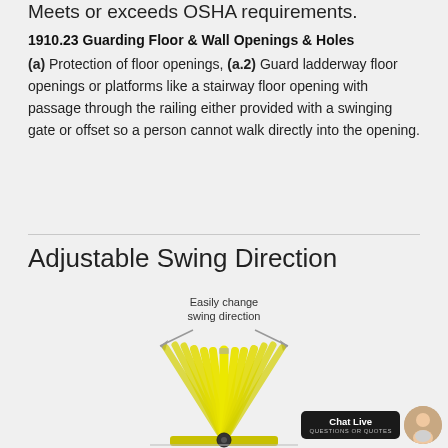Meets or exceeds OSHA requirements.
1910.23 Guarding Floor & Wall Openings & Holes
(a) Protection of floor openings, (a.2) Guard ladderway floor openings or platforms like a stairway floor opening with passage through the railing either provided with a swinging gate or offset so a person cannot walk directly into the opening.
Adjustable Swing Direction
[Figure (illustration): Diagram showing adjustable swing direction of a safety gate with multiple yellow gate positions fanning out, arrows indicating left and right swing, and label 'Easily change swing direction']